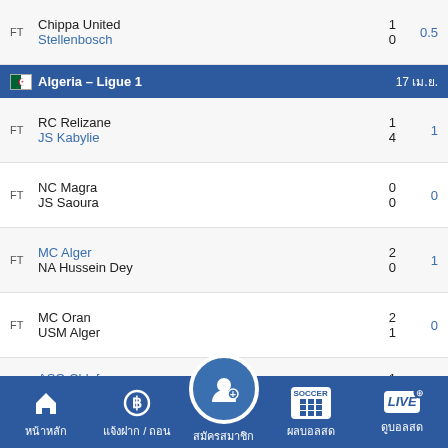FT Chippa United vs Stellenbosch 1-0, odds 0.5
Algeria – Ligue 1, 17 เม.ย.
FT RC Relizane vs JS Kabylie 1-4, odds 1
FT NC Magra vs JS Saoura 0-0, odds 0
FT MC Alger vs NA Hussein Dey 2-0, odds 1
FT MC Oran vs USM Alger 2-1, odds 0
FT ASO Chlef vs (hidden) 1-0, odds 0.5
หน้าหลัก | แจ้งฝาก / ถอน | สมัครสมาชิก | ผลบอลสด | ดูบอลสด
Desportivo Hulla 1